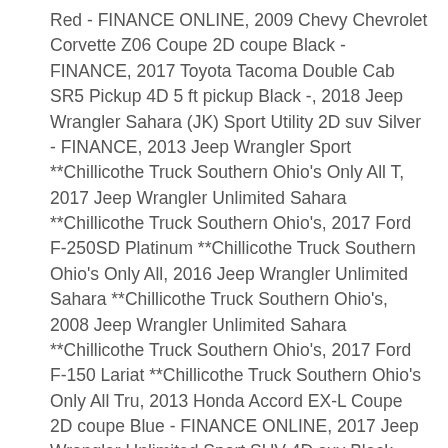Red - FINANCE ONLINE, 2009 Chevy Chevrolet Corvette Z06 Coupe 2D coupe Black - FINANCE, 2017 Toyota Tacoma Double Cab SR5 Pickup 4D 5 ft pickup Black -, 2018 Jeep Wrangler Sahara (JK) Sport Utility 2D suv Silver - FINANCE, 2013 Jeep Wrangler Sport **Chillicothe Truck Southern Ohio's Only All T, 2017 Jeep Wrangler Unlimited Sahara **Chillicothe Truck Southern Ohio's, 2017 Ford F-250SD Platinum **Chillicothe Truck Southern Ohio's Only All, 2016 Jeep Wrangler Unlimited Sahara **Chillicothe Truck Southern Ohio's, 2008 Jeep Wrangler Unlimited Sahara **Chillicothe Truck Southern Ohio's, 2017 Ford F-150 Lariat **Chillicothe Truck Southern Ohio's Only All Tru, 2013 Honda Accord EX-L Coupe 2D coupe Blue - FINANCE ONLINE, 2017 Jeep Wrangler Unlimited Sport SUV 4D suv Black - FINANCE ONLINE, 2019 Nissan Frontier Crew Cab SV Pickup 4D 5 ft pickup White - FINANCE, 2012 Ford Mustang GT Premium Coupe 2D coupe Blue - FINANCE ONLINE, 2010 Chevy Chevrolet Corvette Grand Sport Convertible